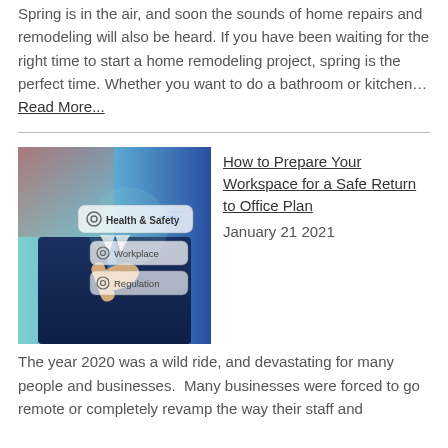Spring is in the air, and soon the sounds of home repairs and remodeling will also be heard. If you have been waiting for the right time to start a home remodeling project, spring is the perfect time. Whether you want to do a bathroom or kitchen… Read More...
[Figure (photo): A person in a business suit pressing a virtual button labeled 'Health & Safety' with additional buttons for 'Workplace' and 'Regulation' visible in a digital interface]
How to Prepare Your Workspace for a Safe Return to Office Plan
January 21 2021
The year 2020 was a wild ride, and devastating for many people and businesses.  Many businesses were forced to go remote or completely revamp the way their staff and